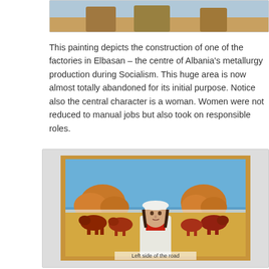[Figure (illustration): Partial view of a painting at the top of the page, cropped — shows the upper portion of a Socialist realist artwork.]
This painting depicts the construction of one of the factories in Elbasan – the centre of Albania's metallurgy production during Socialism. This huge area is now almost totally abandoned for its initial purpose. Notice also the central character is a woman. Women were not reduced to manual jobs but also took on responsible roles.
[Figure (photo): A photograph of a Socialist realist painting showing a woman in a white coat and white hat standing in the foreground, with red/brown cattle and haystacks behind her. A caption at the bottom reads 'Left side of the road'.]